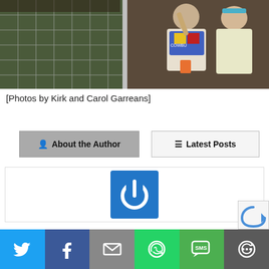[Figure (photo): Children touching a wire mesh fence/cage at what appears to be an outdoor event. A boy in a colorful shirt and a girl in a white top are reaching toward the wire grid.]
[Photos by Kirk and Carol Garreans]
About the Author
Latest Posts
[Figure (logo): Blue square with white power button / circular arrow icon in center]
[Figure (other): Share bar with Twitter, Facebook, Email, WhatsApp, SMS, and More icons]